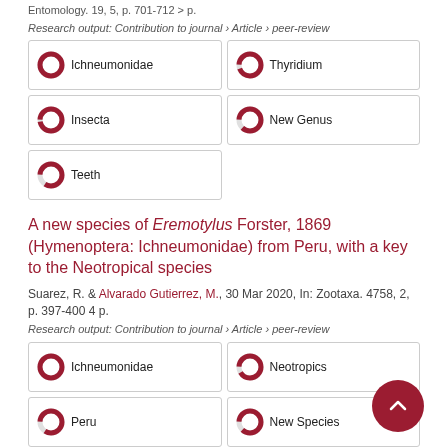Entomology. 19, 5, p. 701-712 > p.
Research output: Contribution to journal › Article › peer-review
Ichneumonidae
Thyridium
Insecta
New Genus
Teeth
A new species of Eremotylus Forster, 1869 (Hymenoptera: Ichneumonidae) from Peru, with a key to the Neotropical species
Suarez, R. & Alvarado Gutierrez, M., 30 Mar 2020, In: Zootaxa. 4758, 2, p. 397-400 4 p.
Research output: Contribution to journal › Article › peer-review
Ichneumonidae
Neotropics
Peru
New Species
Hymenoptera